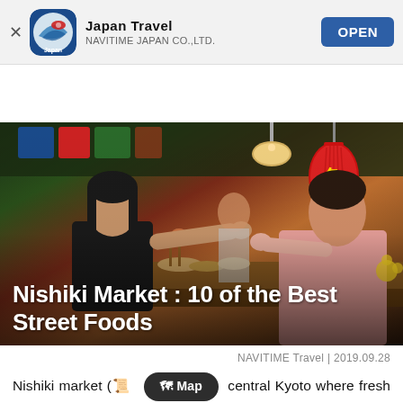[Figure (screenshot): App store banner showing Japan Travel app by NAVITIME JAPAN CO.,LTD. with an OPEN button]
[Figure (logo): Japan Travel by NAVITIME navigation logo with hamburger menu]
[Figure (photo): Photo of Nishiki Market street food scene with two women exchanging food over a market counter, red lantern visible in background]
Nishiki Market : 10 of the Best Street Foods
NAVITIME Travel | 2019.09.28
Nishiki market (錦市場) is a market in central Kyoto where fresh food has been sold for over four hundred years. Nicknamed "Kyoto's Kitchen", we